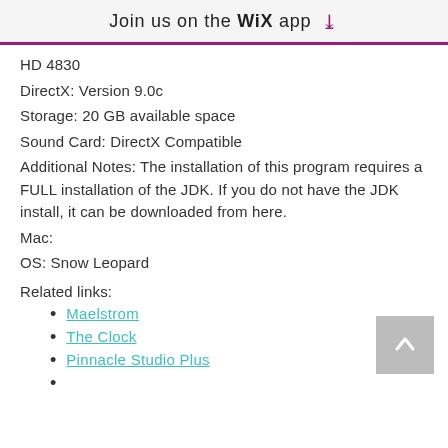Join us on the WiX app ⬇
HD 4830
DirectX: Version 9.0c
Storage: 20 GB available space
Sound Card: DirectX Compatible
Additional Notes: The installation of this program requires a FULL installation of the JDK. If you do not have the JDK install, it can be downloaded from here.
Mac:
OS: Snow Leopard
Related links:
Maelstrom
The Clock
Pinnacle Studio Plus